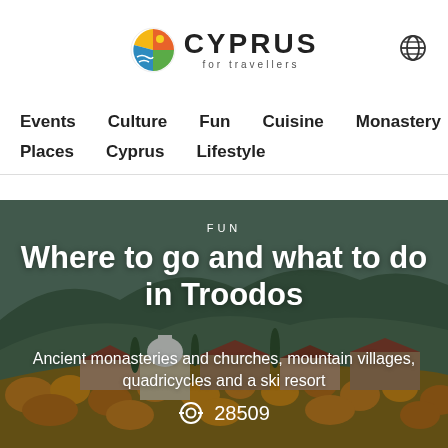CYPRUS for travellers
Events   Culture   Fun   Cuisine   Monastery
Places   Cyprus   Lifestyle
[Figure (photo): Aerial view of a mountain village in Troodos, Cyprus, with traditional red-roofed buildings, a white church dome, and autumn-colored trees covering the hillside. Green mountains in the background.]
FUN
Where to go and what to do in Troodos
Ancient monasteries and churches, mountain villages, quadricycles and a ski resort
28509